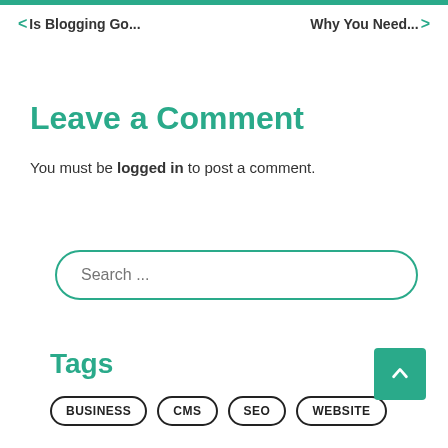< Is Blogging Go...    Why You Need... >
Leave a Comment
You must be logged in to post a comment.
Search ...
Tags
BUSINESS
CMS
SEO
WEBSITE